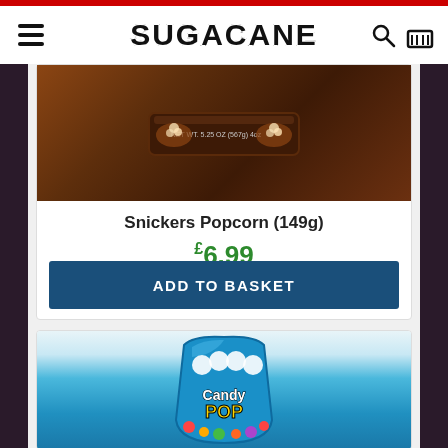SUGACANE
[Figure (photo): Snickers Popcorn product image - chocolate colored package]
Snickers Popcorn (149g)
£6.99
ADD TO BASKET
[Figure (photo): Candy Pop popcorn product image - blue bag with colorful candy pieces]